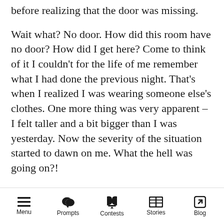before realizing that the door was missing.
Wait what? No door. How did this room have no door? How did I get here? Come to think of it I couldn't for the life of me remember what I had done the previous night. That's when I realized I was wearing someone else's clothes. One more thing was very apparent – I felt taller and a bit bigger than I was yesterday. Now the severity of the situation started to dawn on me. What the hell was going on?!
The window. Of course, the window. I definitely came through the window. I walked as quick as I could to the curtains without aggravating my
Menu | Prompts | Contests | Stories | Blog